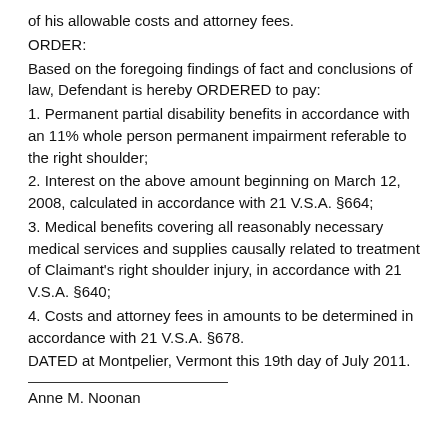of his allowable costs and attorney fees.
ORDER:
Based on the foregoing findings of fact and conclusions of law, Defendant is hereby ORDERED to pay:
1. Permanent partial disability benefits in accordance with an 11% whole person permanent impairment referable to the right shoulder;
2. Interest on the above amount beginning on March 12, 2008, calculated in accordance with 21 V.S.A. §664;
3. Medical benefits covering all reasonably necessary medical services and supplies causally related to treatment of Claimant's right shoulder injury, in accordance with 21 V.S.A. §640;
4. Costs and attorney fees in amounts to be determined in accordance with 21 V.S.A. §678.
DATED at Montpelier, Vermont this 19th day of July 2011.
Anne M. Noonan